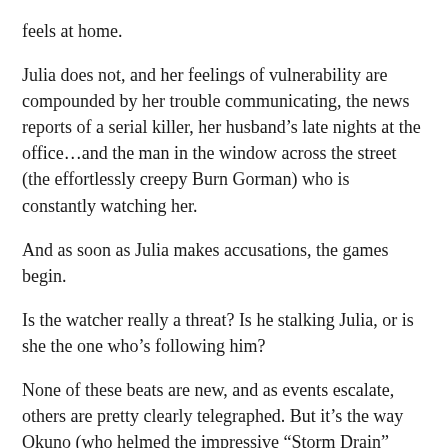feels at home.
Julia does not, and her feelings of vulnerability are compounded by her trouble communicating, the news reports of a serial killer, her husband’s late nights at the office…and the man in the window across the street (the effortlessly creepy Burn Gorman) who is constantly watching her.
And as soon as Julia makes accusations, the games begin.
Is the watcher really a threat? Is he stalking Julia, or is she the one who’s following him?
None of these beats are new, and as events escalate, others are pretty clearly telegraphed. But it’s the way Okuno (who helmed the impressive “Storm Drain” segment from V/H/S /94) slowly twists the gaslighting knife that makes the film’s hair-raising chills resonate.